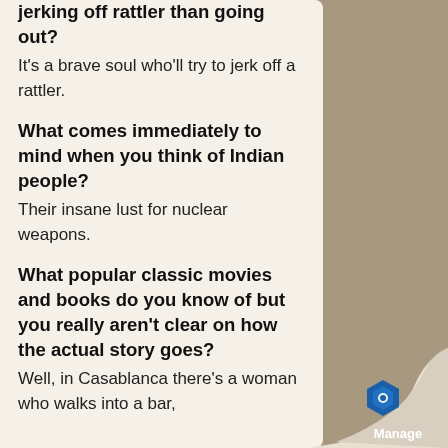jerking off rattler than going out?
It's a brave soul who'll try to jerk off a rattler.
What comes immediately to mind when you think of Indian people?
Their insane lust for nuclear weapons.
What popular classic movies and books do you know of but you really aren't clear on how the actual story goes?
Well, in Casablanca there's a woman who walks into a bar,
[Figure (logo): Manage logo with blue hexagonal icon on a curled paper corner in the bottom right]